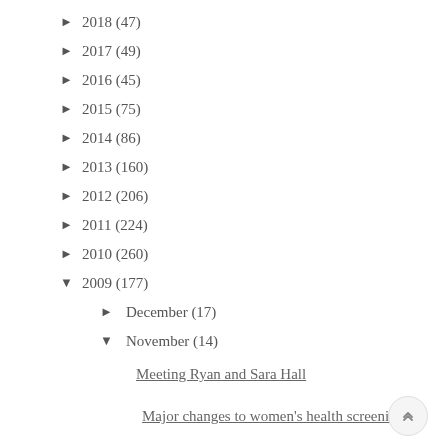► 2018 (47)
► 2017 (49)
► 2016 (45)
► 2015 (75)
► 2014 (86)
► 2013 (160)
► 2012 (206)
► 2011 (224)
► 2010 (260)
▼ 2009 (177)
► December (17)
▼ November (14)
Meeting Ryan and Sara Hall
Major changes to women's health screenings